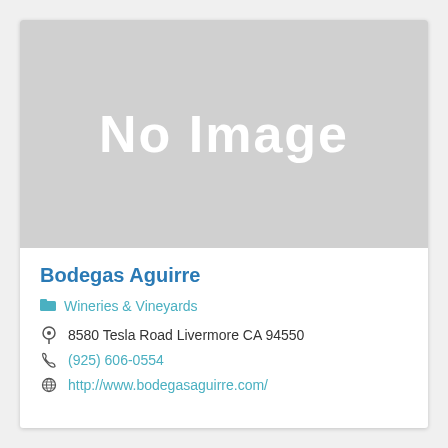[Figure (other): No Image placeholder — light grey rectangle with 'No Image' text in white]
Bodegas Aguirre
Wineries & Vineyards
8580 Tesla Road Livermore CA 94550
(925) 606-0554
http://www.bodegasaguirre.com/